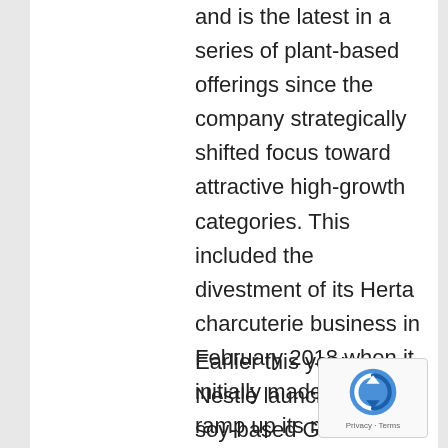and is the latest in a series of plant-based offerings since the company strategically shifted focus toward attractive high-growth categories. This included the divestment of its Herta charcuterie business in February 2018 when it initially made moves to ramp up its meat alternatives portfolio.
Earlier this year, Nestlé launched its soy-based Garden Gourmet Incredible Sausage in Europe. The vegan sausage is available in Bratwurst and Chorizo styles and, according to the